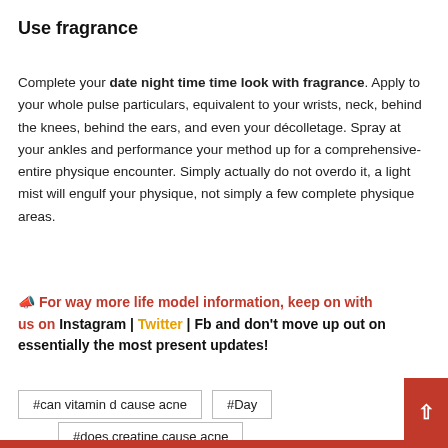Use fragrance
Complete your date night time time look with fragrance. Apply to your whole pulse particulars, equivalent to your wrists, neck, behind the knees, behind the ears, and even your décolletage. Spray at your ankles and performance your method up for a comprehensive-entire physique encounter. Simply actually do not overdo it, a light mist will engulf your physique, not simply a few complete physique areas.
📣 For way more life model information, keep on with us on Instagram | Twitter | Fb and don't move up out on essentially the most present updates!
#can vitamin d cause acne
#Day
#does creatine cause acne